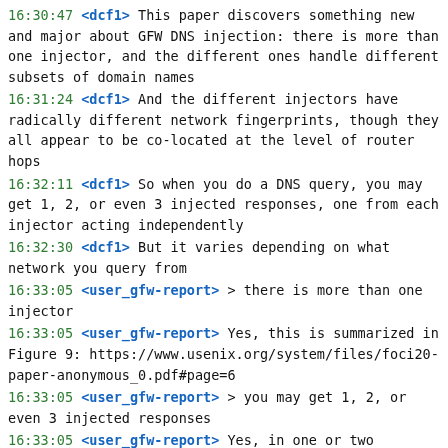16:30:47 <dcf1> This paper discovers something new and major about GFW DNS injection: there is more than one injector, and the different ones handle different subsets of domain names
16:31:24 <dcf1> And the different injectors have radically different network fingerprints, though they all appear to be co-located at the level of router hops
16:32:11 <dcf1> So when you do a DNS query, you may get 1, 2, or even 3 injected responses, one from each injector acting independently
16:32:30 <dcf1> But it varies depending on what network you query from
16:33:05 <user_gfw-report> > there is more than one injector
16:33:05 <user_gfw-report> Yes, this is summarized in Figure 9: https://www.usenix.org/system/files/foci20-paper-anonymous_0.pdf#page=6
16:33:05 <user_gfw-report> > you may get 1, 2, or even 3 injected responses
16:33:05 <user_gfw-report> Yes, in one or two subnets, we got up to 5 responses
16:33:05 <user_gfw-report> v
16:33:14 <dcf1> Another interesting outcome of this research is that they caught the moment that the pool of poison IP addresses changed. One day it decreased in size from 1510 to 216
16:35:43 <dcf1> I have heard it said through the grapevine that a large fraction of poison IP addresses belong to organizations like Facebook. I might be mistaken, but this may be the first peer-reviewed paper